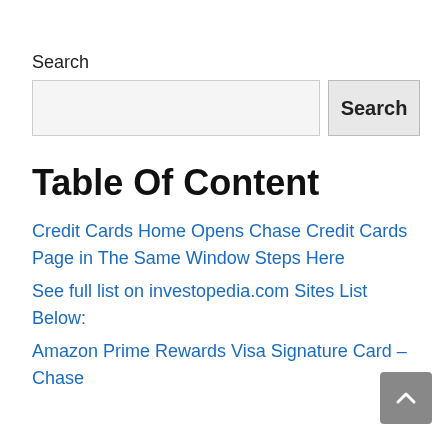Search
[Figure (other): Search input box with a Search button]
Table Of Content
Credit Cards Home Opens Chase Credit Cards Page in The Same Window Steps Here
See full list on investopedia.com Sites List Below:
Amazon Prime Rewards Visa Signature Card – Chase